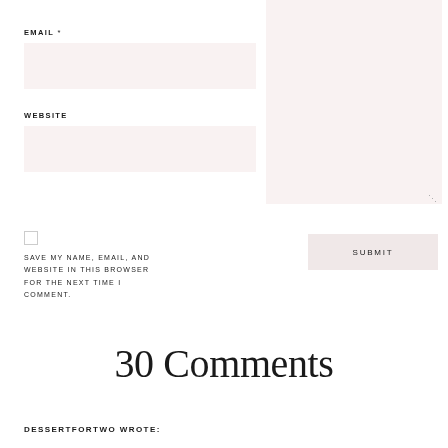EMAIL *
WEBSITE
SAVE MY NAME, EMAIL, AND WEBSITE IN THIS BROWSER FOR THE NEXT TIME I COMMENT.
SUBMIT
30 Comments
DESSERTFORTWO WROTE: